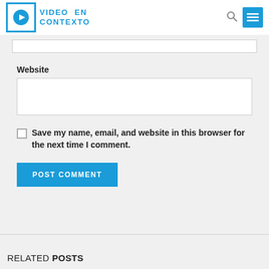[Figure (logo): Video En Contexto logo with play button icon and blue text]
Website
[Figure (screenshot): Website text input field (empty)]
Save my name, email, and website in this browser for the next time I comment.
POST COMMENT
RELATED POSTS